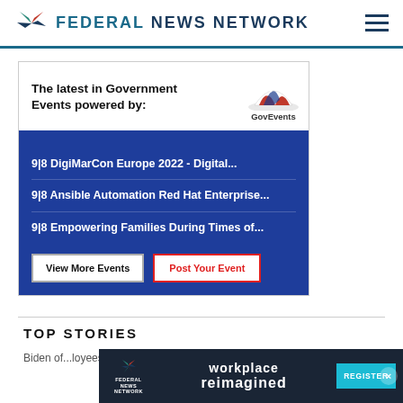FEDERAL NEWS NETWORK
[Figure (infographic): GovEvents advertisement box showing latest government events including DigiMarCon Europe 2022, Ansible Automation Red Hat Enterprise, and Empowering Families During Times of... with View More Events and Post Your Event buttons]
TOP STORIES
Biden of...loyees in 2023
[Figure (infographic): Federal News Network workplace reimagined advertisement banner with Register button]